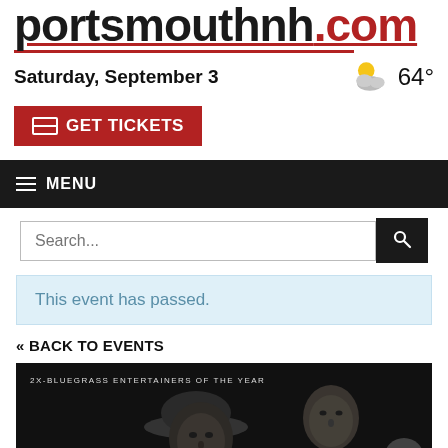portsmouthnh.com
Saturday, September 3
64°
GET TICKETS
MENU
Search...
This event has passed.
« BACK TO EVENTS
[Figure (photo): Black and white photo of two men, with text overlay '2X-BLUEGRASS ENTERTAINERS OF THE YEAR'. One man wears a hat in the foreground, another man in a suit in the background. An orange/tan bar visible at the bottom.]